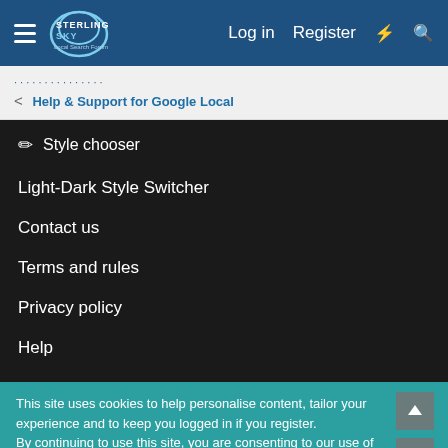Sterling Sky Local Search Forum — Log in | Register
Help & Support for Google Local
Style chooser
Light-Dark Style Switcher
Contact us
Terms and rules
Privacy policy
Help
This site uses cookies to help personalise content, tailor your experience and to keep you logged in if you register. By continuing to use this site, you are consenting to our use of cookies.